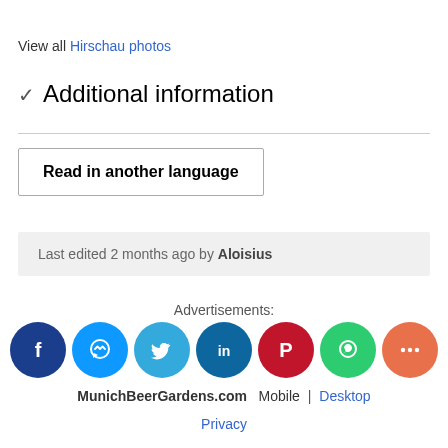View all Hirschau photos
Additional information
Read in another language
Last edited 2 months ago by Aloisius
Advertisements:
[Figure (illustration): Social sharing icons: Facebook, Messenger, Twitter, LinkedIn, Pinterest, WhatsApp, More]
MunichBeerGardens.com  Mobile | Desktop
Privacy